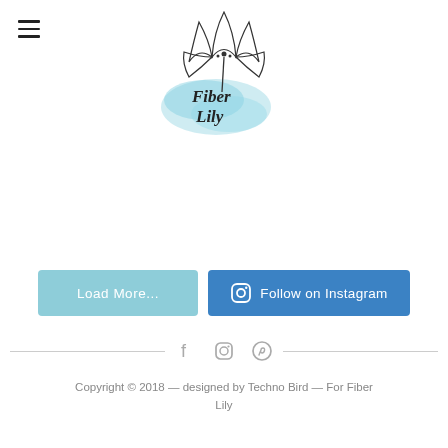[Figure (logo): Fiber Lily logo: a hand-drawn lily flower with watercolor teal background and cursive text 'Fiber Lily']
[Figure (other): Two buttons: 'Load More...' (light blue) and 'Follow on Instagram' (blue with Instagram icon)]
[Figure (other): Social media icons row: Facebook, Instagram, Pinterest flanked by horizontal lines]
Copyright © 2018 — designed by Techno Bird — For Fiber Lily